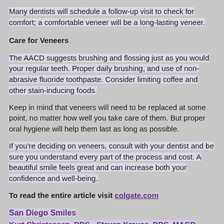Many dentists will schedule a follow-up visit to check for comfort; a comfortable veneer will be a long-lasting veneer.
Care for Veneers
The AACD suggests brushing and flossing just as you would your regular teeth. Proper daily brushing, and use of non-abrasive fluoride toothpaste. Consider limiting coffee and other stain-inducing foods.
Keep in mind that veneers will need to be replaced at some point, no matter how well you take care of them. But proper oral hygiene will help them last as long as possible.
If you're deciding on veneers, consult with your dentist and be sure you understand every part of the process and cost. A beautiful smile feels great and can increase both your confidence and well-being.
To read the entire article visit colgate.com
San Diego Smiles
Kurt Christensen, DDS - Steven Krause, DDS, MAGD
337 West Madison Avenue
El Cajon, CA 92020